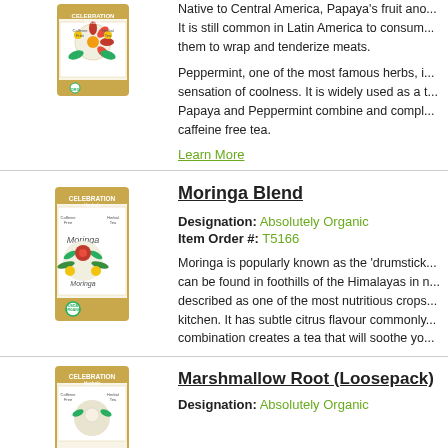[Figure (photo): Celebration Herbals tea box product image for Papaya Peppermint tea]
Native to Central America, Papaya's fruit and... It is still common in Latin America to consume... them to wrap and tenderize meats.
Peppermint, one of the most famous herbs, i... sensation of coolness. It is widely used as a... Papaya and Peppermint combine and compl... caffeine free tea.
Learn More
[Figure (photo): Celebration Herbals tea box product image for Moringa Blend tea]
Moringa Blend
Designation: Absolutely Organic
Item Order #: T5166
Moringa is popularly known as the 'drumstick... can be found in foothills of the Himalayas in n... described as one of the most nutritious crops... kitchen. It has subtle citrus flavour commonly... combination creates a tea that will soothe yo...
[Figure (photo): Celebration Herbals tea box product image for Marshmallow Root (Loosepack)]
Marshmallow Root (Loosepack)
Designation: Absolutely Organic